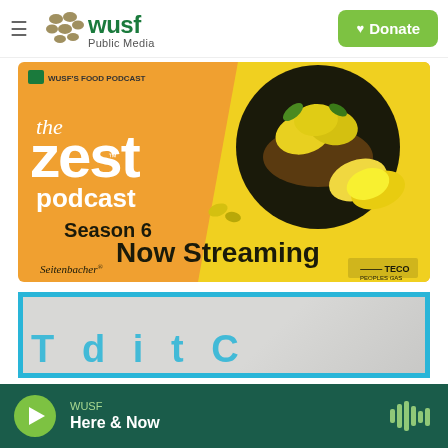[Figure (logo): WUSF Public Media logo with dots and text]
[Figure (photo): The Zest Podcast Season 6 Now Streaming - promotional banner with orange and yellow background, lemons in a bowl, sponsored by Seitenbacher and TECO Peoples Gas]
[Figure (photo): Partially visible second content card with cyan border and teal text beginning to appear]
[Figure (infographic): WUSF audio player bar at bottom - playing Here & Now, green play button, waveform icon on dark green background]